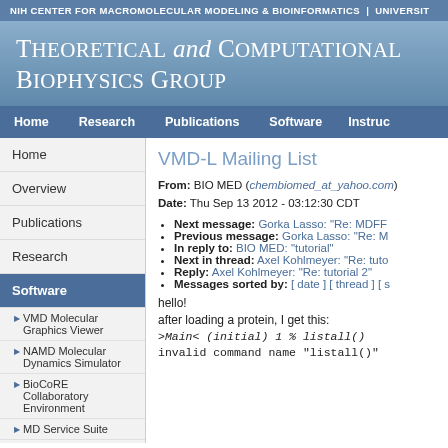NIH CENTER FOR MACROMOLECULAR MODELING & BIOINFORMATICS | UNIVERSIT
Theoretical and Computational Biophysics Group
Home | Research | Publications | Software | Instruc
Home
Overview
Publications
Research
Software
VMD Molecular Graphics Viewer
NAMD Molecular Dynamics Simulator
BioCoRE Collaboratory Environment
MD Service Suite
Structural Biology
VMD-L Mailing List
From: BIO MED (chembiomed_at_yahoo.com)
Date: Thu Sep 13 2012 - 03:12:30 CDT
Next message: Gorka Lasso: "Re: MDFF
Previous message: Gorka Lasso: "Re: M
In reply to: BIO MED: "tutorial"
Next in thread: Axel Kohlmeyer: "Re: tuto
Reply: Axel Kohlmeyer: "Re: tutorial 2"
Messages sorted by: [ date ] [ thread ] [ s
hello!
after loading a protein, I get this:
>Main< (initial) 1 % listall()
invalid command name "listall()"